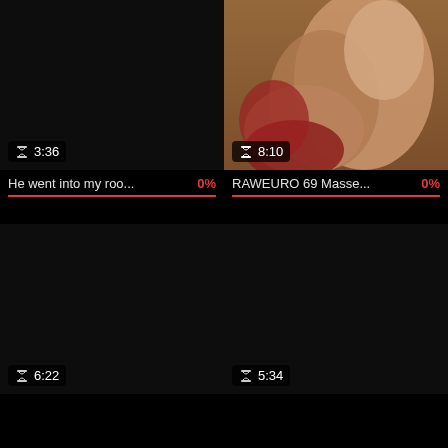[Figure (screenshot): Video thumbnail grid showing adult content website. Top-left: black thumbnail with duration 3:36 and title 'He went into my roo...' with 0% rating. Top-right: photo thumbnail with duration 8:10 and title 'RAWEURO 69 Masse...' with 0% rating. Bottom-left: black thumbnail with duration 6:22. Bottom-right: black thumbnail with duration 5:34.]